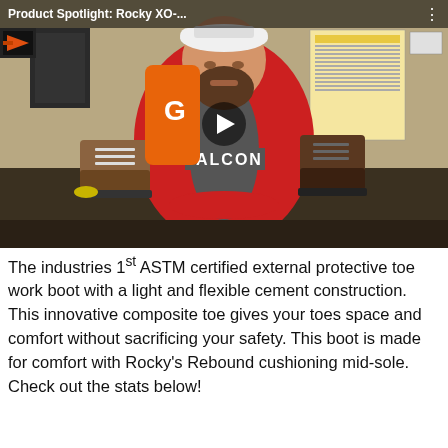[Figure (screenshot): Video thumbnail showing a man in a red Falcon hoodie and white cap sitting at a dark table holding a work boot, with two boots and a red insole on the table. Video title bar reads 'Product Spotlight: Rocky XO-...' with a play button overlay.]
The industries 1st ASTM certified external protective toe work boot with a light and flexible cement construction. This innovative composite toe gives your toes space and comfort without sacrificing your safety. This boot is made for comfort with Rocky's Rebound cushioning mid-sole.  Check out the stats below!